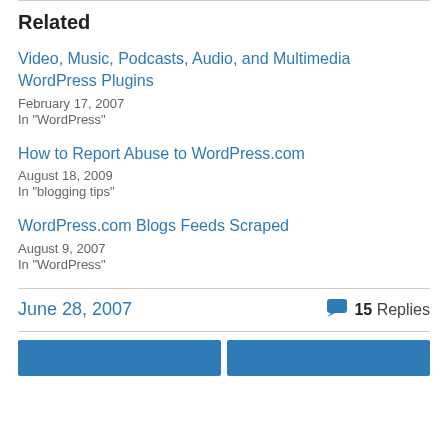Related
Video, Music, Podcasts, Audio, and Multimedia WordPress Plugins
February 17, 2007
In "WordPress"
How to Report Abuse to WordPress.com
August 18, 2009
In "blogging tips"
WordPress.com Blogs Feeds Scraped
August 9, 2007
In "WordPress"
June 28, 2007   15 Replies